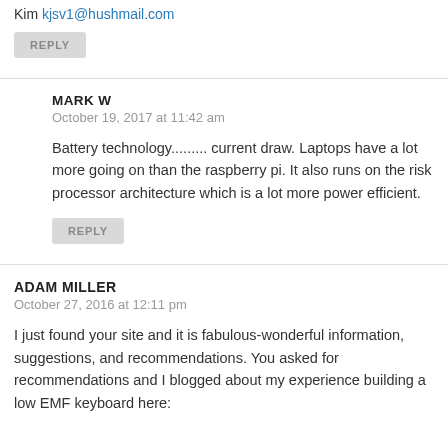Kim kjsv1@hushmail.com
REPLY
MARK W
October 19, 2017 at 11:42 am
Battery technology......... current draw. Laptops have a lot more going on than the raspberry pi. It also runs on the risk processor architecture which is a lot more power efficient.
REPLY
ADAM MILLER
October 27, 2016 at 12:11 pm
I just found your site and it is fabulous-wonderful information, suggestions, and recommendations. You asked for recommendations and I blogged about my experience building a low EMF keyboard here: